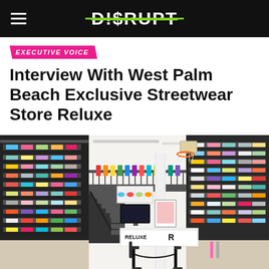D!$RUPT
EXECUTIVE VOICE
Interview With West Palm Beach Exclusive Streetwear Store Reluxe
[Figure (photo): Interior of Reluxe streetwear store in West Palm Beach showing walls lined with sneakers on shelves, a checkout counter with the Reluxe logo, a basketball hoop mounted high, and a second floor mezzanine visible in the background.]